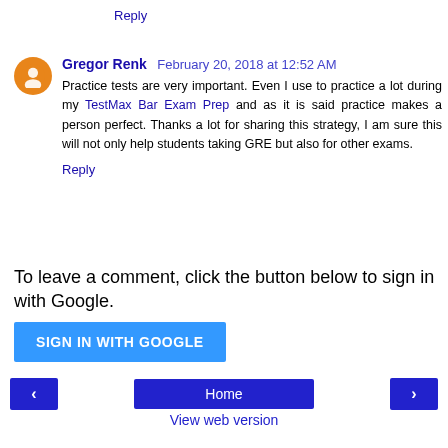Reply
Gregor Renk February 20, 2018 at 12:52 AM
Practice tests are very important. Even I use to practice a lot during my TestMax Bar Exam Prep and as it is said practice makes a person perfect. Thanks a lot for sharing this strategy, I am sure this will not only help students taking GRE but also for other exams.
Reply
To leave a comment, click the button below to sign in with Google.
SIGN IN WITH GOOGLE
Home
View web version